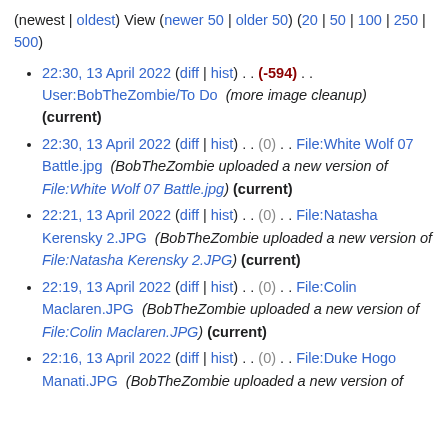(newest | oldest) View (newer 50 | older 50) (20 | 50 | 100 | 250 | 500)
22:30, 13 April 2022 (diff | hist) . . (-594) . . User:BobTheZombie/To Do (more image cleanup) (current)
22:30, 13 April 2022 (diff | hist) . . (0) . . File:White Wolf 07 Battle.jpg (BobTheZombie uploaded a new version of File:White Wolf 07 Battle.jpg) (current)
22:21, 13 April 2022 (diff | hist) . . (0) . . File:Natasha Kerensky 2.JPG (BobTheZombie uploaded a new version of File:Natasha Kerensky 2.JPG) (current)
22:19, 13 April 2022 (diff | hist) . . (0) . . File:Colin Maclaren.JPG (BobTheZombie uploaded a new version of File:Colin Maclaren.JPG) (current)
22:16, 13 April 2022 (diff | hist) . . (0) . . File:Duke Hogo Manati.JPG (BobTheZombie uploaded a new version of